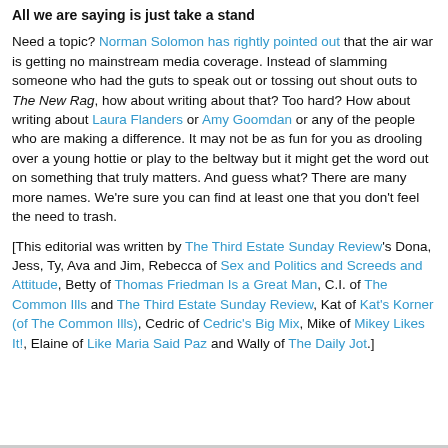All we are saying is just take a stand
Need a topic? Norman Solomon has rightly pointed out that the air war is getting no mainstream media coverage. Instead of slamming someone who had the guts to speak out or tossing out shout outs to The New Rag, how about writing about that? Too hard? How about writing about Laura Flanders or Amy Goomdan or any of the people who are making a difference. It may not be as fun for you as drooling over a young hottie or play to the beltway but it might get the word out on something that truly matters. And guess what? There are many more names. We're sure you can find at least one that you don't feel the need to trash.
[This editorial was written by The Third Estate Sunday Review's Dona, Jess, Ty, Ava and Jim, Rebecca of Sex and Politics and Screeds and Attitude, Betty of Thomas Friedman Is a Great Man, C.I. of The Common Ills and The Third Estate Sunday Review, Kat of Kat's Korner (of The Common Ills), Cedric of Cedric's Big Mix, Mike of Mikey Likes It!, Elaine of Like Maria Said Paz and Wally of The Daily Jot.]